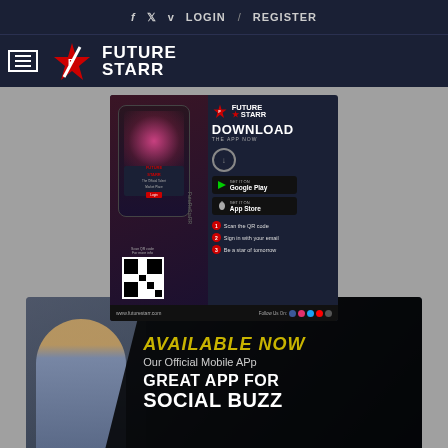f  t  v  LOGIN  /  REGISTER
[Figure (logo): FutureStarr logo with hamburger menu and star icon]
[Figure (screenshot): FutureStarr app download advertisement banner showing phone mockup, Google Play and App Store download buttons, QR code, and steps to get started]
F...s
[Figure (infographic): Promotional banner: AVAILABLE NOW - Our Official Mobile App - GREAT APP FOR SOCIAL BUZZ with crowd background and person taking selfie]